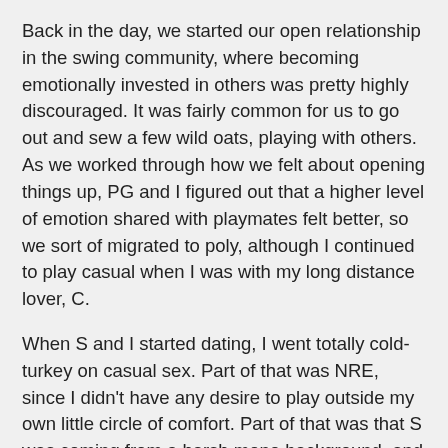Back in the day, we started our open relationship in the swing community, where becoming emotionally invested in others was pretty highly discouraged. It was fairly common for us to go out and sew a few wild oats, playing with others. As we worked through how we felt about opening things up, PG and I figured out that a higher level of emotion shared with playmates felt better, so we sort of migrated to poly, although I continued to play casual when I was with my long distance lover, C.
When S and I started dating, I went totally cold-turkey on casual sex. Part of that was NRE, since I didn't have any desire to play outside my own little circle of comfort. Part of that was that S was coming from a harsh mono background, and time to solidify the relationship without outside confusion was desired. Part of that was becoming "more poly", I had more interest in being around emotionally resonant people than casual contacts.
This past weekend S and I went out and played, casual. We'd talked it over in advance, and while we were there. I figured this would be fun!